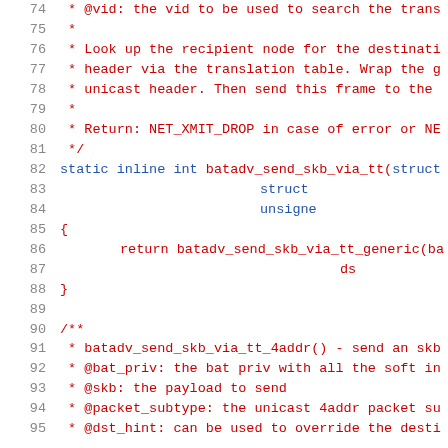[Figure (screenshot): Source code listing showing lines 74-95 of a C file, with line numbers in gray, comment text in red, and keywords in blue. The code shows a function batadv_send_skb_via_tt and a Doxygen comment block for batadv_send_skb_via_tt_4addr.]